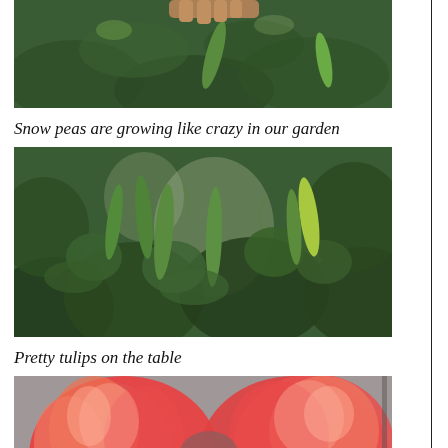[Figure (photo): Close-up photo of snow peas growing on a plant, with green leaves and flat pea pods visible, and a hand partially visible at the top.]
Snow peas are growing like crazy in our garden
[Figure (photo): Close-up photo of snow pea plants with flat green pea pods hanging among dark green leaves and tendrils.]
Pretty tulips on the table
[Figure (photo): Close-up photo of red and pink tulips in bloom on a table.]